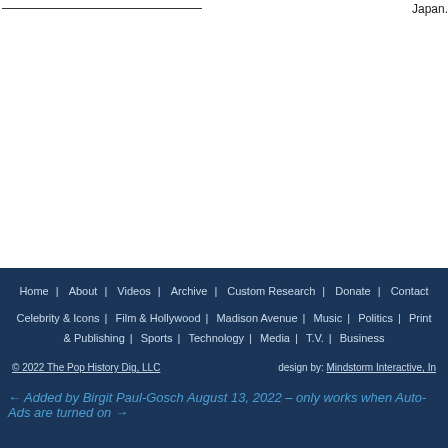Japan.
Home | About | Videos | Archive | Custom Research | Donate | Contact
Celebrity & Icons | Film & Hollywood | Madison Avenue | Music | Politics | Print & Publishing | Sports | Technology | Media | T.V. | Business
© 2022 The Pop History Dig, LLC   design by: Mindstorm Interactive, In
← Added by Birgit Paul-Gosch August 13, 2022 – only works when Auto-Ads are turned on →